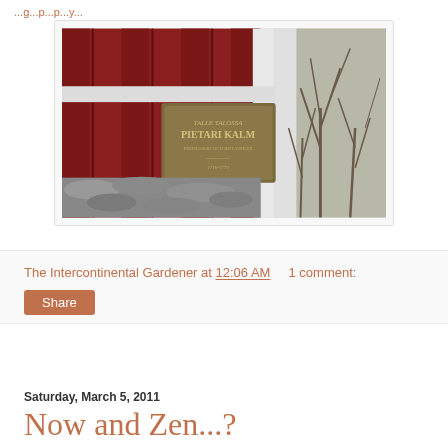...g...p...p...y...
[Figure (photo): Close-up photo of a red barn or building with white-painted wooden door frame and a bronze/brass commemorative plaque reading 'PIETARI KALM', with stone foundation visible at bottom and bare winter trees in background on the right side.]
The Intercontinental Gardener at 12:06 AM     1 comment:
Share
Saturday, March 5, 2011
Now and Zen...?